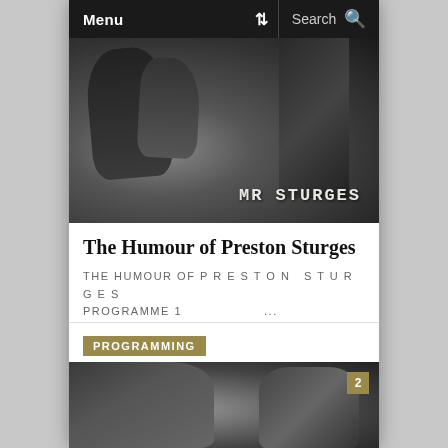Menu   Search
[Figure (photo): Black and white film still showing a director's chair with 'MR STURGES' written on it]
The Humour of Preston Sturges
THE HUMOUR OF PRESTON STURGES PROGRAMME 1 ...
PROGRAMMING
[Figure (photo): Black and white film still showing a woman and a man wearing a hat, with a badge numbered 2 in the top right corner]